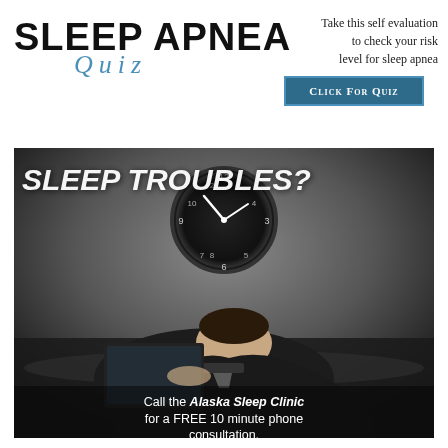SLEEP APNEA QUIZ
Take this self evaluation to check your risk level for sleep apnea
Click For Quiz
[Figure (photo): Man in suit asleep at desk with laptop, large clock on wall above, with overlaid text 'SLEEP TROUBLES?' and caption about Alaska Sleep Clinic]
Call the Alaska Sleep Clinic for a FREE 10 minute phone consultation.